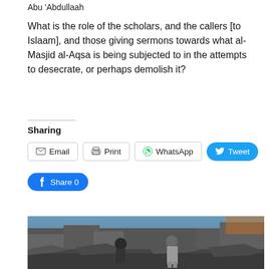Abu 'Abdullaah
What is the role of the scholars, and the callers [to Islaam], and those giving sermons towards what al-Masjid al-Aqsa is being subjected to in the attempts to desecrate, or perhaps demolish it?
Sharing
Email | Print | WhatsApp | Tweet | Share 0
[Figure (photo): Two people walking through rubble and destruction, with collapsed buildings in the background. The scene appears to be a war-damaged area.]